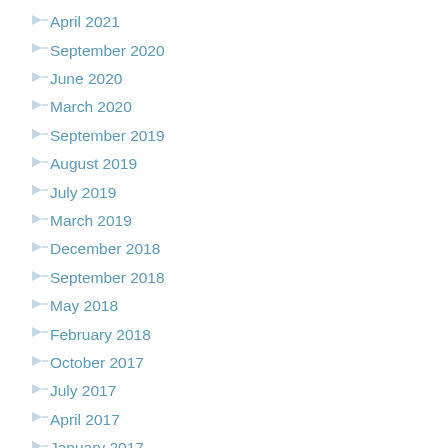April 2021
September 2020
June 2020
March 2020
September 2019
August 2019
July 2019
March 2019
December 2018
September 2018
May 2018
February 2018
October 2017
July 2017
April 2017
January 2017